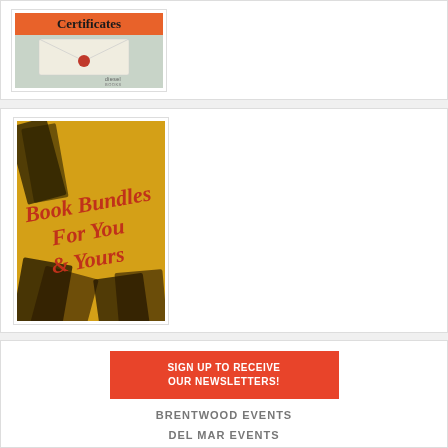[Figure (illustration): Gift Certificates promotional image showing an envelope with a wax seal and diesel books branding, with text 'Certificates' at top]
[Figure (illustration): Book Bundles For You & Yours promotional image on yellow/gold background with dark silhouettes of books and red italic text reading 'Book Bundles For You & Yours']
[Figure (illustration): Orange/red button with white uppercase text: 'SIGN UP TO RECEIVE OUR NEWSLETTERS!']
BRENTWOOD EVENTS
DEL MAR EVENTS